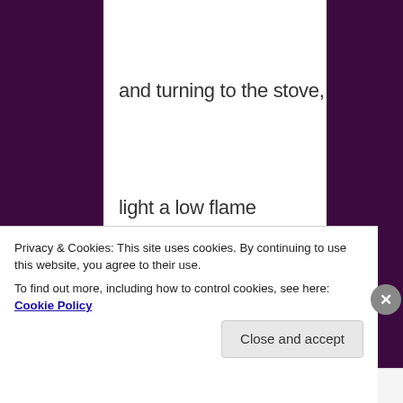and turning to the stove,
light a low flame
find a tin cup
two tea bags, honey and
Privacy & Cookies: This site uses cookies. By continuing to use this website, you agree to their use.
To find out more, including how to control cookies, see here: Cookie Policy
Close and accept